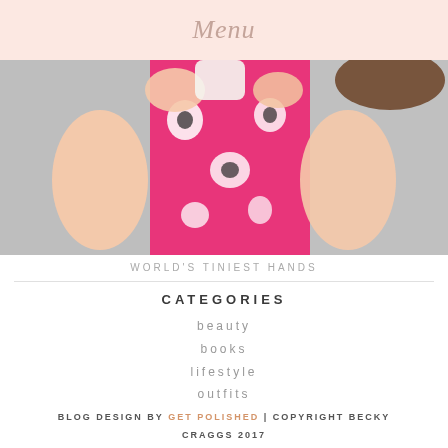Menu
[Figure (photo): Close-up photo of a baby wearing a pink floral dress, showing small hands/knees, lying on a light gray surface.]
WORLD'S TINIEST HANDS
CATEGORIES
beauty
books
lifestyle
outfits
travel
BLOG DESIGN BY GET POLISHED | COPYRIGHT BECKY CRAGGS 2017